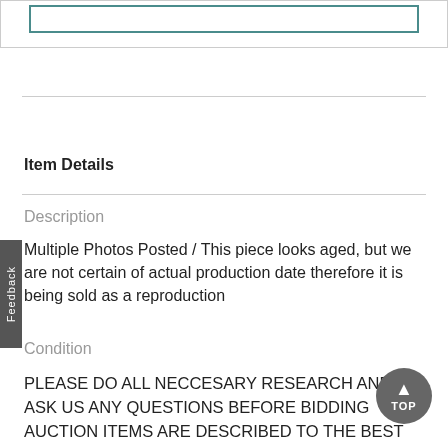[Figure (other): Top image area with teal/green bordered box]
Item Details
Description
Multiple Photos Posted / This piece looks aged, but we are not certain of actual production date therefore it is being sold as a reproduction
Condition
PLEASE DO ALL NECCESARY RESEARCH AND ASK US ANY QUESTIONS BEFORE BIDDING AUCTION ITEMS ARE DESCRIBED TO THE BEST OF OUR ABILITY. ALL ITEMS SOLD AS-IS